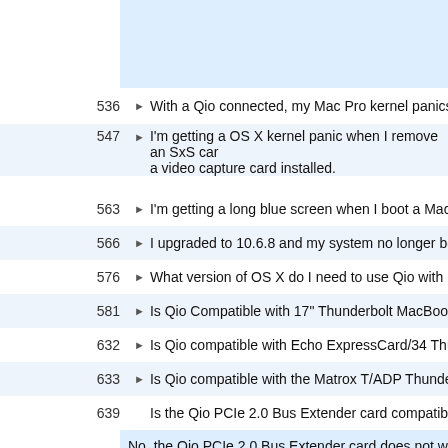536 ▶ With a Qio connected, my Mac Pro kernel panics when I sh...
547 ▶ I'm getting a OS X kernel panic when I remove an SxS car... a video capture card installed.
563 ▶ I'm getting a long blue screen when I boot a Mac with Qio i...
566 ▶ I upgraded to 10.6.8 and my system no longer boots.
576 ▶ What version of OS X do I need to use Qio with MacBook P...
581 ▶ Is Qio Compatible with 17" Thunderbolt MacBook Pro?
632 ▶ Is Qio compatible with Echo ExpressCard/34 Thunderbolt A...
633 ▶ Is Qio compatible with the Matrox T/ADP Thunderbolt Port ...
639   Is the Qio PCIe 2.0 Bus Extender card compatible in all slo...
No, the Qio PCIe 2.0 Bus Extender card does not work in t...
646 ▶ How can I read UDF Formatted SxS cards?
648   Why is the Panasonic OS X P2 driver not compatible with 6... SATA drivers are compatible with 64-bit mode?